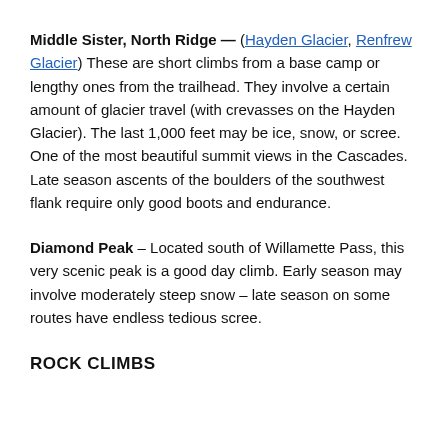Middle Sister, North Ridge — (Hayden Glacier, Renfrew Glacier) These are short climbs from a base camp or lengthy ones from the trailhead. They involve a certain amount of glacier travel (with crevasses on the Hayden Glacier). The last 1,000 feet may be ice, snow, or scree. One of the most beautiful summit views in the Cascades. Late season ascents of the boulders of the southwest flank require only good boots and endurance.
Diamond Peak – Located south of Willamette Pass, this very scenic peak is a good day climb. Early season may involve moderately steep snow – late season on some routes have endless tedious scree.
ROCK CLIMBS